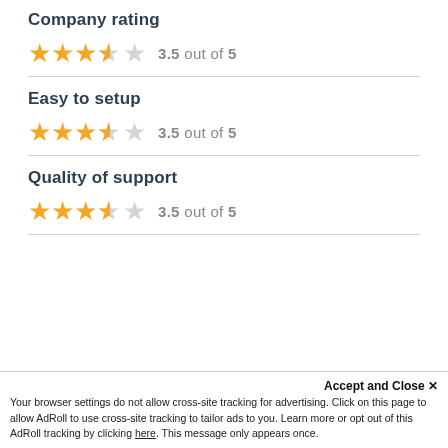Company rating
[Figure (other): 3.5 out of 5 stars rating display — 3 full stars, 1 half star, 1 empty star, with text '3.5 out of 5']
Easy to setup
[Figure (other): 3.5 out of 5 stars rating display — 3 full stars, 1 half star, 1 empty star, with text '3.5 out of 5']
Quality of support
[Figure (other): 3.5 out of 5 stars rating display — 3 full stars, 1 half star, 1 empty star, with text '3.5 out of 5']
Accept and Close ✕
Your browser settings do not allow cross-site tracking for advertising. Click on this page to allow AdRoll to use cross-site tracking to tailor ads to you. Learn more or opt out of this AdRoll tracking by clicking here. This message only appears once.